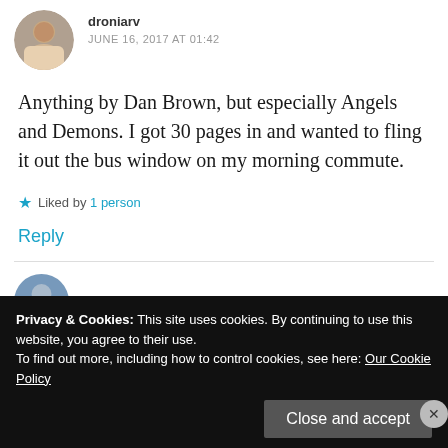[Figure (photo): Circular avatar photo of a person]
droniarv
JUNE 16, 2017 AT 01:42
Anything by Dan Brown, but especially Angels and Demons. I got 30 pages in and wanted to fling it out the bus window on my morning commute.
Liked by 1 person
Reply
[Figure (photo): Circular avatar photo partially visible at bottom]
Privacy & Cookies: This site uses cookies. By continuing to use this website, you agree to their use.
To find out more, including how to control cookies, see here: Our Cookie Policy
Close and accept